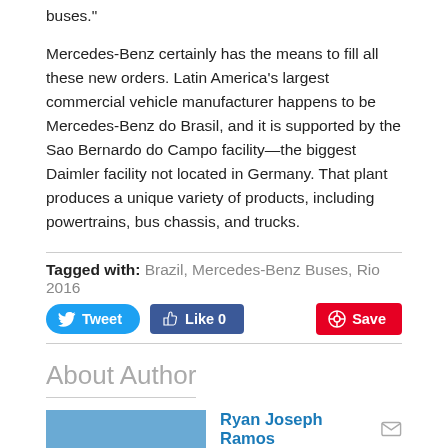buses."
Mercedes-Benz certainly has the means to fill all these new orders. Latin America's largest commercial vehicle manufacturer happens to be Mercedes-Benz do Brasil, and it is supported by the Sao Bernardo do Campo facility—the biggest Daimler facility not located in Germany. That plant produces a unique variety of products, including powertrains, bus chassis, and trucks.
Tagged with: Brazil, Mercedes-Benz Buses, Rio 2016
About Author
[Figure (photo): Photo of Ryan Joseph Ramos - a person wearing white and blue Nike sneakers, blue background]
Ryan Joseph Ramos
A longtime fan of basketball and Formula One, this guy has been a Mercedes-Benz enthusiast since he's heard about cars. One day, he'll own an AMG car--or so he says. View all posts by Ryan Joseph Ramos →